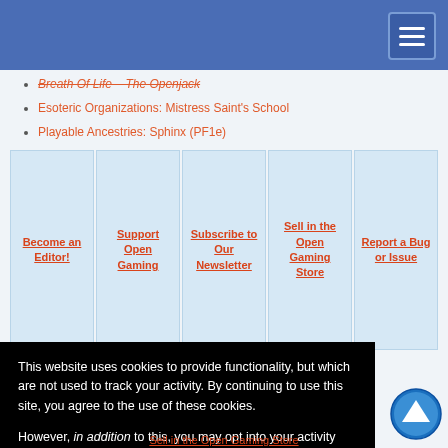Navigation header bar with hamburger menu
Breath Of Life – The Openjack
Esoteric Organizations: Mistress Saint's School
Playable Ancestries: Sphinx (PF1e)
[Figure (other): Five navigation button cells: Become an Editor!, Support Open Gaming, Subscribe to Our Newsletter, Sell in the Open Gaming Store, Report a Bug or Issue]
ense (partial link visible)
This website uses cookies to provide functionality, but which are not used to track your activity. By continuing to use this site, you agree to the use of these cookies.

However, in addition to this, you may opt into your activity being tracked in order to help us improve our service.

For more information, please click here
OK  No, thank you (cookie dialog buttons)